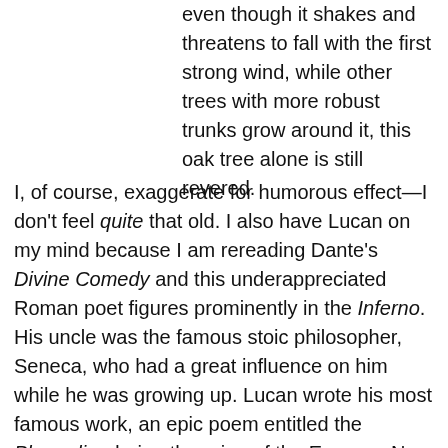even though it shakes and threatens to fall with the first strong wind, while other trees with more robust trunks grow around it, this oak tree alone is still revered.
I, of course, exaggerate for humorous effect—I don't feel quite that old. I also have Lucan on my mind because I am rereading Dante's Divine Comedy and this underappreciated Roman poet figures prominently in the Inferno. His uncle was the famous stoic philosopher, Seneca, who had a great influence on him while he was growing up. Lucan wrote his most famous work, an epic poem entitled the Pharsalia, during the reign of the Emperor Nero with whom Lucan had a close alliance and friendship. The Pharsalia (in Latin De Bello Civile) tells the story of the civil war between Pompey and Caesar that took place during the waning years of the Roman